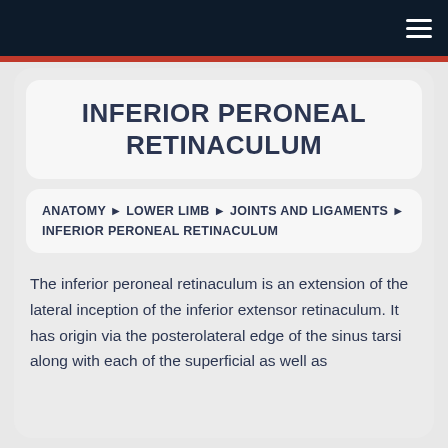INFERIOR PERONEAL RETINACULUM
ANATOMY ► LOWER LIMB ► JOINTS AND LIGAMENTS ► INFERIOR PERONEAL RETINACULUM
The inferior peroneal retinaculum is an extension of the lateral inception of the inferior extensor retinaculum. It has origin via the posterolateral edge of the sinus tarsi along with each of the superficial as well as